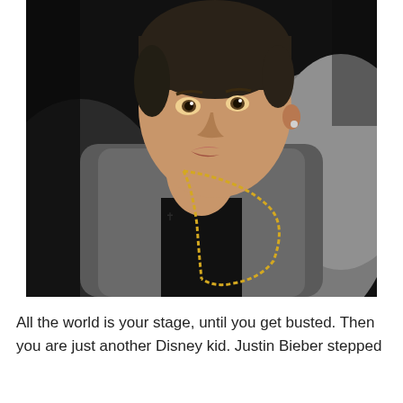[Figure (photo): Close-up photo of a young man (Justin Bieber) wearing a grey denim jacket open over a black shirt, with gold bead chain necklaces, short dark hair, and a stud earring, photographed against a dark background.]
All the world is your stage, until you get busted. Then you are just another Disney kid. Justin Bieber stepped